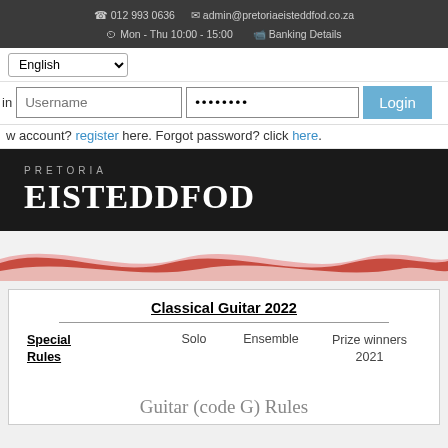☎ 012 993 0636   ✉ admin@pretoriaeisteddfod.co.za   ⏱ Mon - Thu 10:00 - 15:00   Banking Details
[Figure (screenshot): Login bar with English language selector dropdown]
[Figure (screenshot): Login form with Username field, password field, and Login button]
w account? register here. Forgot password? click here.
[Figure (logo): Pretoria Eisteddfod logo on dark background]
[Figure (illustration): Red and white wave decoration banner]
Classical Guitar 2022
| Special Rules | Solo | Ensemble | Prize winners 2021 |
| --- | --- | --- | --- |
Guitar (code G) Rules